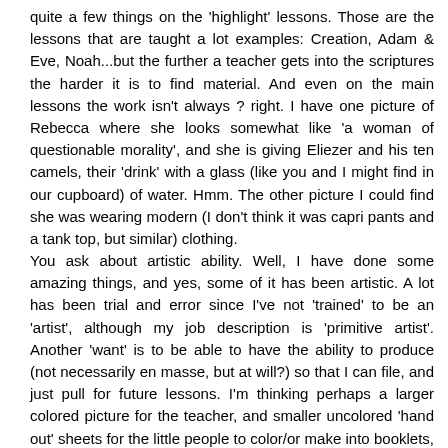quite a few things on the 'highlight' lessons. Those are the lessons that are taught a lot examples: Creation, Adam & Eve, Noah...but the further a teacher gets into the scriptures the harder it is to find material. And even on the main lessons the work isn't always ? right. I have one picture of Rebecca where she looks somewhat like 'a woman of questionable morality', and she is giving Eliezer and his ten camels, their 'drink' with a glass (like you and I might find in our cupboard) of water. Hmm. The other picture I could find she was wearing modern (I don't think it was capri pants and a tank top, but similar) clothing.
You ask about artistic ability. Well, I have done some amazing things, and yes, some of it has been artistic. A lot has been trial and error since I've not 'trained' to be an 'artist', although my job description is 'primitive artist'. Another 'want' is to be able to have the ability to produce (not necessarily en masse, but at will?) so that I can file, and just pull for future lessons. I'm thinking perhaps a larger colored picture for the teacher, and smaller uncolored 'hand out' sheets for the little people to color/or make into booklets, etc. But I need some kind of models to draw from, something to base the picture on, and there in is